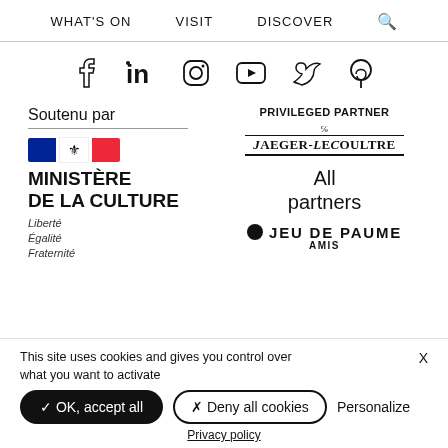WHAT'S ON   VISIT   DISCOVER
[Figure (other): Social media icons: Facebook, LinkedIn, Instagram, YouTube, Twitter, Pinterest]
Soutenu par
[Figure (logo): French flag and Ministère de la Culture logo with Liberté Égalité Fraternité]
PRIVILEGED PARTNER
[Figure (logo): Jaeger-LeCoultre logo]
All partners
[Figure (logo): Jeu de Paume Amis logo]
This site uses cookies and gives you control over what you want to activate
✓ OK, accept all   ✗ Deny all cookies   Personalize
Privacy policy